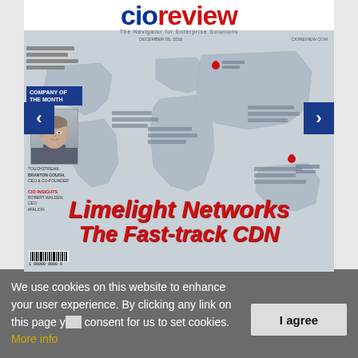[Figure (screenshot): CIOReview magazine cover showing a world map background with location pins, a portrait photo of a person, company of the month section, and large red italic text reading 'Limelight Networks The Fast-track CDN'. Navigation arrows on left and right sides.]
We use cookies on this website to enhance your user experience. By clicking any link on this page you give your consent for us to set cookies. More info
I agree